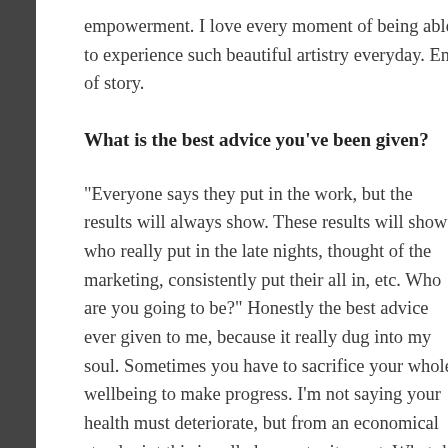empowerment. I love every moment of being able to experience such beautiful artistry everyday. End of story.
What is the best advice you've been given?
"Everyone says they put in the work, but the results will always show. These results will show who really put in the late nights, thought of the marketing, consistently put their all in, etc. Who are you going to be?" Honestly the best advice ever given to me, because it really dug into my soul. Sometimes you have to sacrifice your whole wellbeing to make progress. I'm not saying your health must deteriorate, but from an economical standpoint this is called opportunity cost. What do you deem